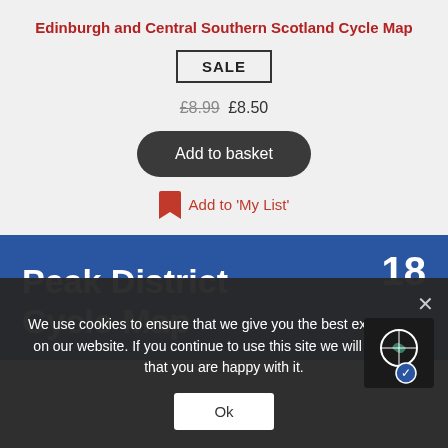Edinburgh and Central Southern Scotland Cycle Map
SALE
£8.99 £8.50
Add to basket
Add to 'My List'
18
Peak District Cycle Map
We use cookies to ensure that we give you the best experience on our website. If you continue to use this site we will assume that you are happy with it.
Ok